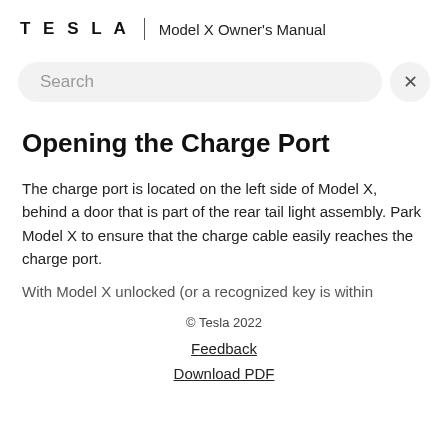TESLA | Model X Owner's Manual
[Figure (screenshot): Search bar with placeholder text 'Search' and a close (X) button on the right]
Opening the Charge Port
The charge port is located on the left side of Model X, behind a door that is part of the rear tail light assembly. Park Model X to ensure that the charge cable easily reaches the charge port.
With Model X unlocked (or a recognized key is within
© Tesla 2022
Feedback
Download PDF